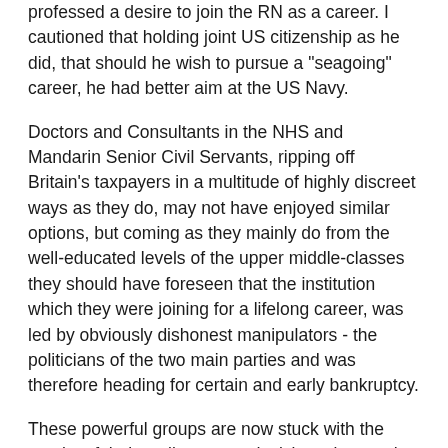professed a desire to join the RN as a career. I cautioned that holding joint US citizenship as he did, that should he wish to pursue a "seagoing" career, he had better aim at the US Navy.
Doctors and Consultants in the NHS and Mandarin Senior Civil Servants, ripping off Britain's taxpayers in a multitude of highly discreet ways as they do, may not have enjoyed similar options, but coming as they mainly do from the well-educated levels of the upper middle-classes they should have foreseen that the institution which they were joining for a lifelong career, was led by obviously dishonest manipulators - the politicians of the two main parties and was therefore heading for certain and early bankruptcy.
These powerful groups are now stuck with the results of their earlier career decisions, just as the middle and upper management of such companies as Enron, with no knowledge or culpability for the mispractises at the top, were stuck with their redundancy. Read what Britain's Senior Civil Servant now has to say on the nation's prospects for the coming years in the Daily Telegraph today from here